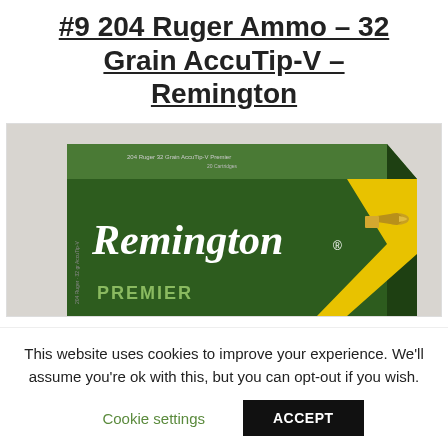#9 204 Ruger Ammo – 32 Grain AccuTip-V – Remington
[Figure (photo): A green Remington Premier ammunition box with a rifle bullet visible on the right side. The box displays the Remington brand name in large white italic script and 'PREMIER' text at the bottom.]
This website uses cookies to improve your experience. We'll assume you're ok with this, but you can opt-out if you wish.